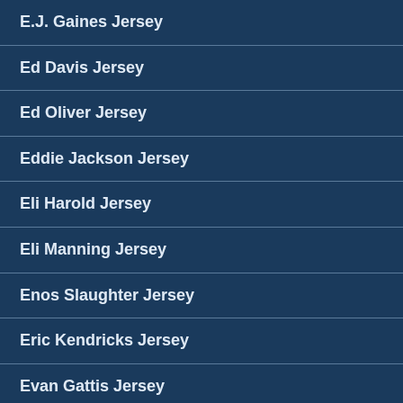E.J. Gaines Jersey
Ed Davis Jersey
Ed Oliver Jersey
Eddie Jackson Jersey
Eli Harold Jersey
Eli Manning Jersey
Enos Slaughter Jersey
Eric Kendricks Jersey
Evan Gattis Jersey
Everson Griffen Jersey